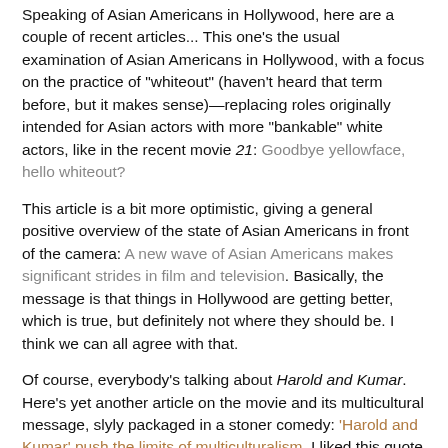Speaking of Asian Americans in Hollywood, here are a couple of recent articles... This one's the usual examination of Asian Americans in Hollywood, with a focus on the practice of "whiteout" (haven't heard that term before, but it makes sense)—replacing roles originally intended for Asian actors with more "bankable" white actors, like in the recent movie 21: Goodbye yellowface, hello whiteout?
This article is a bit more optimistic, giving a general positive overview of the state of Asian Americans in front of the camera: A new wave of Asian Americans makes significant strides in film and television. Basically, the message is that things in Hollywood are getting better, which is true, but definitely not where they should be. I think we can all agree with that.
Of course, everybody's talking about Harold and Kumar. Here's yet another article on the movie and its multicultural message, slyly packaged in a stoner comedy: 'Harold and Kumar' push the limits of multiculturalism. I liked this quote from co-writer/director Hayden Schlossberg: "The theme in these movies is that Harold and Kumar are sort of